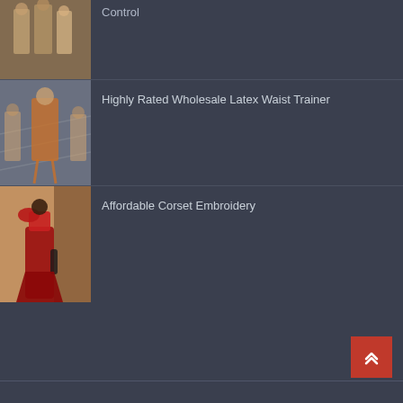[Figure (photo): Fashion photo of models in tan/beige outfits, partially cropped at top]
Control
[Figure (photo): Fashion photo of model in orange/tan outfit with fringe, walking on runway]
Highly Rated Wholesale Latex Waist Trainer
[Figure (photo): Fashion photo of woman in red one-shoulder gown against tan background]
Affordable Corset Embroidery